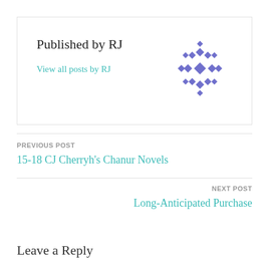Published by RJ
View all posts by RJ
[Figure (illustration): Purple decorative snowflake/geometric avatar icon]
PREVIOUS POST
15-18 CJ Cherryh's Chanur Novels
NEXT POST
Long-Anticipated Purchase
Leave a Reply